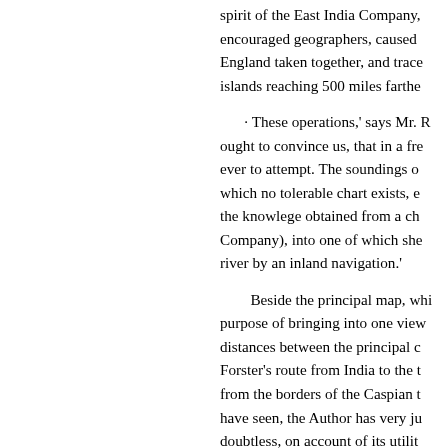spirit of the East India Company, encouraged geographers, caused England taken together, and trace islands reaching 500 miles farthe
· These operations,' says Mr. R ought to convince us, that in a fre ever to attempt. The soundings o which no tolerable chart exists, e the knowlege obtained from a ch Company), into one of which she river by an inland navigation.'
Beside the principal map, whi purpose of bringing into one viev distances between the principal c Forster's route from India to the t from the borders of the Caspian t have seen, the Author has very ju doubtless, on account of its utilit the place in the map where the na by preventing fruitless researche
The account of the Ganges, and c Rennel, first made its appearance